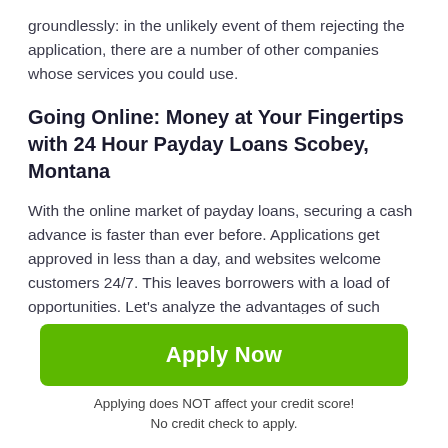groundlessly: in the unlikely event of them rejecting the application, there are a number of other companies whose services you could use.
Going Online: Money at Your Fingertips with 24 Hour Payday Loans Scobey, Montana
With the online market of payday loans, securing a cash advance is faster than ever before. Applications get approved in less than a day, and websites welcome customers 24/7. This leaves borrowers with a load of opportunities. Let's analyze the advantages of such loans.
The Advantages of Payday Loans Scobey Online
[Figure (other): Green 'Apply Now' button with text below reading 'Applying does NOT affect your credit score! No credit check to apply.']